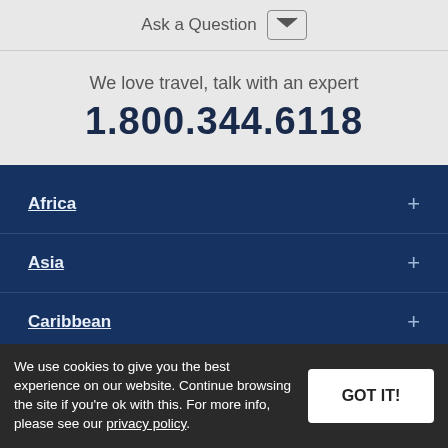Ask a Question
We love travel, talk with an expert
1.800.344.6118
Africa +
Asia +
Caribbean +
Central America & Mexico +
We use cookies to give you the best experience on our website. Continue browsing the site if you're ok with this. For more info, please see our privacy policy.